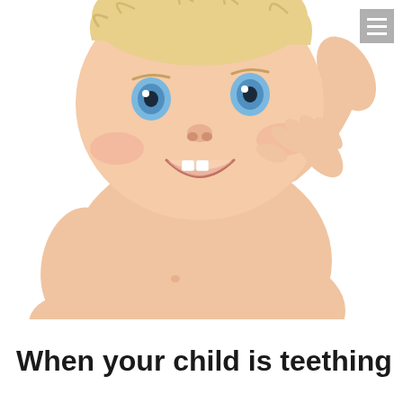[Figure (photo): A smiling baby with blue eyes, no shirt, putting fingers in their mouth, showing emerging teeth. White background. Menu icon (hamburger) in top-right corner.]
When your child is teething